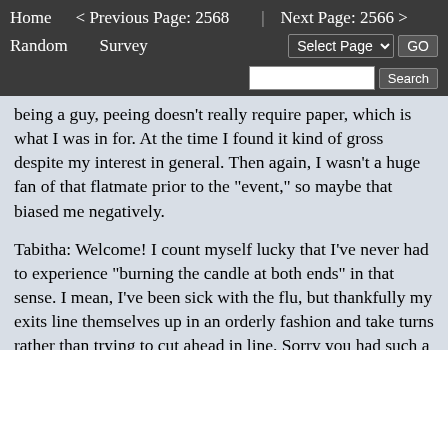Home   < Previous Page: 2568  |  Next Page: 2566 >   Random   Survey   Select Page  GO   Search
being a guy, peeing doesn't really require paper, which is what I was in for. At the time I found it kind of gross despite my interest in general. Then again, I wasn't a huge fan of that flatmate prior to the "event," so maybe that biased me negatively.
Tabitha: Welcome! I count myself lucky that I've never had to experience "burning the candle at both ends" in that sense. I mean, I've been sick with the flu, but thankfully my exits line themselves up in an orderly fashion and take turns rather than trying to cut ahead in line. Sorry you had such a draining experience; hope you made it to the subway.
My girlfriend Emma has been letting out some pretty horrific gas tonight for the past couple of hours or so. I'm not sure what she ate, but whatever it was triggered something deadly in her. --- and actually, while I was writing this, it was in fact a sign of something more. She just gave the toilet a good blasting, which I was given the